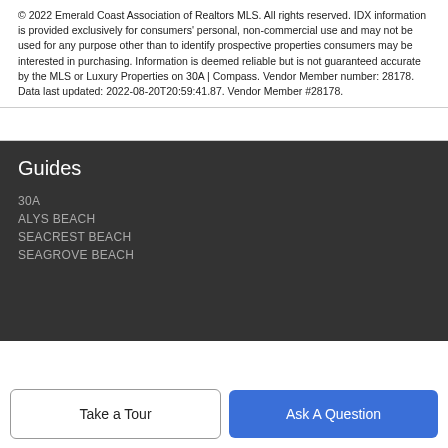© 2022 Emerald Coast Association of Realtors MLS. All rights reserved. IDX information is provided exclusively for consumers' personal, non-commercial use and may not be used for any purpose other than to identify prospective properties consumers may be interested in purchasing. Information is deemed reliable but is not guaranteed accurate by the MLS or Luxury Properties on 30A | Compass. Vendor Member number: 28178. Data last updated: 2022-08-20T20:59:41.87. Vendor Member #28178.
Guides
30A
ALYS BEACH
SEACREST BEACH
SEAGROVE BEACH